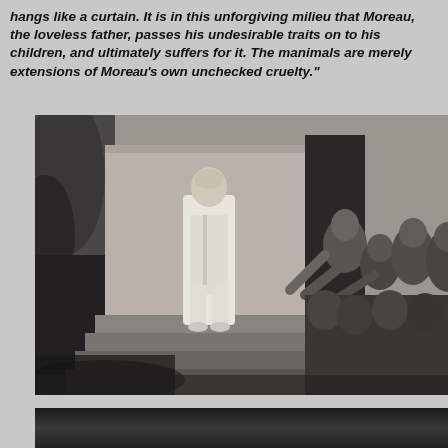hangs like a curtain. It is in this unforgiving milieu that Moreau, the loveless father, passes his undesirable traits on to his children, and ultimately suffers for it. The manimals are merely extensions of Moreau's own unchecked cruelty."
[Figure (photo): Black and white film still showing a man in a white suit standing on steps, facing a crowd of hunched, ape-like humanoid figures reaching toward him.]
[Figure (photo): Partial black and white photo at the bottom of the page, content mostly cut off.]